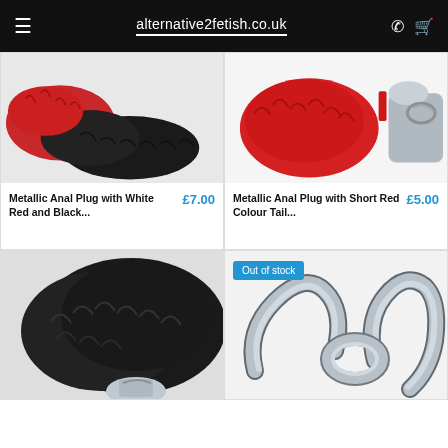alternative2fetish.co.uk
[Figure (photo): Product photo: Metallic anal plug with white red and black fox tail, close-up showing red and black fur tail]
Metallic Anal Plug with White Red and Black... £7.00
[Figure (photo): Product photo: Metallic anal plug with short red colour tail, close-up showing red fluffy pom attached to silver plug]
Metallic Anal Plug with Short Red Colour Tail... £5.00
[Figure (photo): Product photo: Metallic anal plug with black fluffy tail, close-up showing black fur pom attached to silver plug]
[Figure (photo): Product photo: Metallic anal plug, close-up of silver metal plug without tail, Out of stock badge visible]